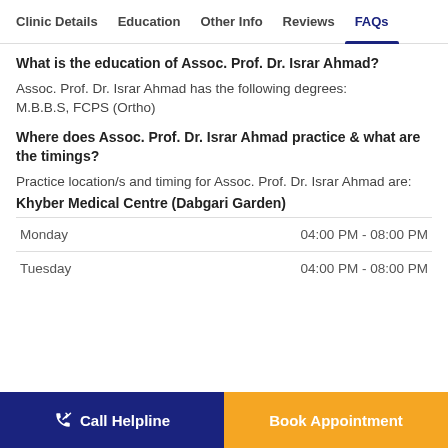Clinic Details | Education | Other Info | Reviews | FAQs
What is the education of Assoc. Prof. Dr. Israr Ahmad?
Assoc. Prof. Dr. Israr Ahmad has the following degrees: M.B.B.S, FCPS (Ortho)
Where does Assoc. Prof. Dr. Israr Ahmad practice & what are the timings?
Practice location/s and timing for Assoc. Prof. Dr. Israr Ahmad are:
| Day | Timings |
| --- | --- |
| Monday | 04:00 PM - 08:00 PM |
| Tuesday | 04:00 PM - 08:00 PM |
Call Helpline | Book Appointment